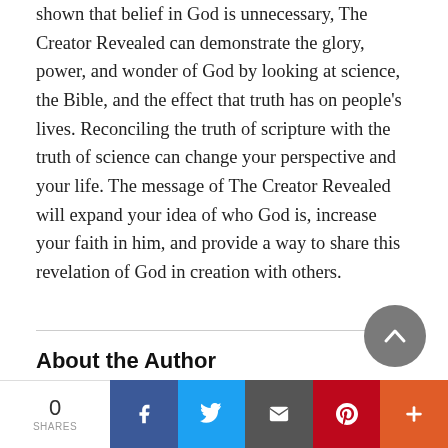shown that belief in God is unnecessary, The Creator Revealed can demonstrate the glory, power, and wonder of God by looking at science, the Bible, and the effect that truth has on people's lives. Reconciling the truth of scripture with the truth of science can change your perspective and your life. The message of The Creator Revealed will expand your idea of who God is, increase your faith in him, and provide a way to share this revelation of God in creation with others.
About the Author
[Figure (other): Social share bar with share count (0 SHARES), Facebook, Twitter, Email, Pinterest, and More buttons]